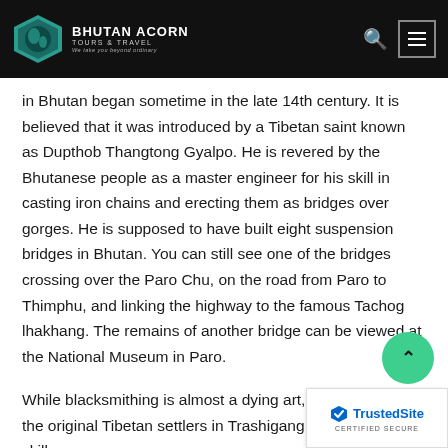[Figure (logo): Bhutan Acorn Tours & Travel logo with diamond-shaped icon on black navigation bar]
in Bhutan began sometime in the late 14th century. It is believed that it was introduced by a Tibetan saint known as Dupthob Thangtong Gyalpo. He is revered by the Bhutanese people as a master engineer for his skill in casting iron chains and erecting them as bridges over gorges. He is supposed to have built eight suspension bridges in Bhutan. You can still see one of the bridges crossing over the Paro Chu, on the road from Paro to Thimphu, and linking the highway to the famous Tachog lhakhang. The remains of another bridge can be viewed at the National Museum in Paro.
While blacksmithing is almost a dying art, you can still find the original Tibetan settlers in Trashigang practicing this skill.